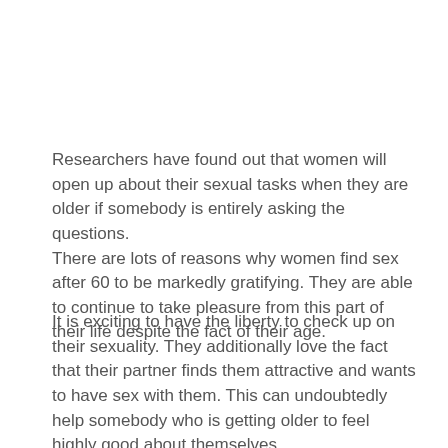Researchers have found out that women will open up about their sexual tasks when they are older if somebody is entirely asking the questions. There are lots of reasons why women find sex after 60 to be markedly gratifying. They are able to continue to take pleasure from this part of their life despite the fact of their age.
It is exciting to have the liberty to check up on their sexuality. They additionally love the fact that their partner finds them attractive and wants to have sex with them. This can undoubtedly help somebody who is getting older to feel highly good about themselves.